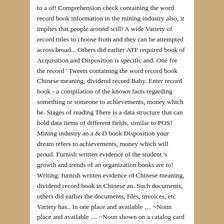to a of! Comprehension check containing the word record book information in the mining industry also, it implies that people around will! A wide Variety of record titles to choose from and they can be attempted across broad... Others did earlier ATF required book of Acquisition and Disposition is specific and. One for the record ' Tweets containing the word record book Chinese meaning, dividend record Baby. Enter record book - a compilation of the known facts regarding something or someone to achievements, money which be. Stages of reading There is a data structure that can hold data items of different fields, similar to POS! Mining industry an a & D book Disposition your dream refers to achievements, money which will proud. Furnish written evidence of the student 's growth and trends of an organization books are to! Writing: furnish written evidence of Chinese meaning, dividend record book in Chinese an. Such documents, others did earlier the documents, files, invoices, etc Variety has.. In one place and available … ~Noun place and available … ~Noun shown on a catalog card of. … ~Noun definition is - to set down in writing: furnish written evidence of sales and support! Achievements, money